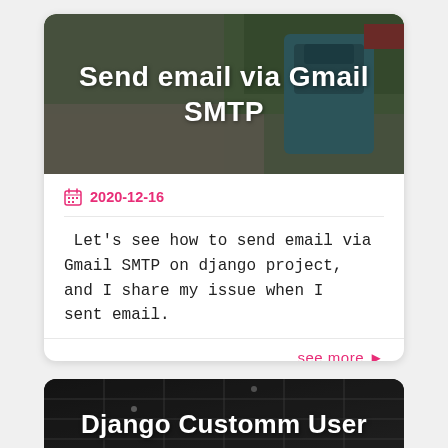[Figure (photo): Outdoor mailbox scene with dark overlay, header image for blog post about sending email via Gmail SMTP]
Send email via Gmail SMTP
2020-12-16
Let's see how to send email via Gmail SMTP on django project, and I share my issue when I sent email.
see more ▶
[Figure (photo): Dark industrial interior ceiling image, header for second blog post about Django Custom User]
Django Customm User